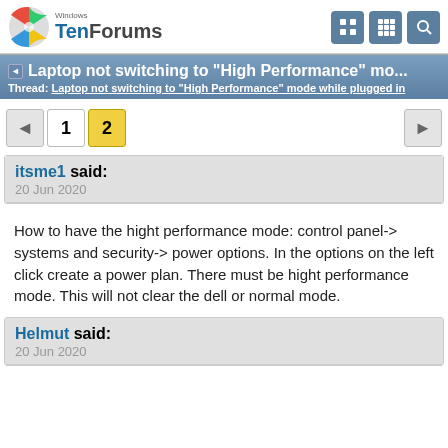Windows TenForums
Laptop not switching to "High Performance" mo...
Thread: Laptop not switching to "High Performance" mode while plugged in
Page 1 2
itsme1 said:
20 Jun 2020
How to have the hight performance mode: control panel-> systems and security-> power options. In the options on the left click create a power plan. There must be hight performance mode. This will not clear the dell or normal mode.
Helmut said:
20 Jun 2020